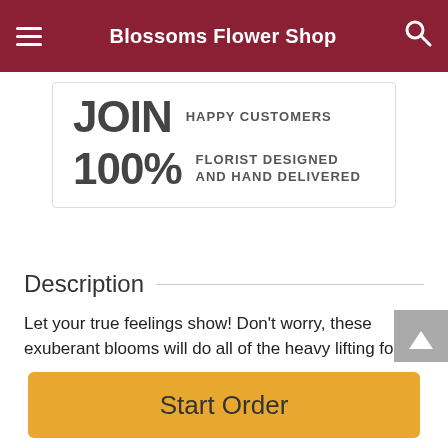Blossoms Flower Shop
JOIN HAPPY CUSTOMERS
100% FLORIST DESIGNED AND HAND DELIVERED
Description
Let your true feelings show! Don't worry, these exuberant blooms will do all of the heavy lifting for you. Bold, modern, and bursting with energy, Hello, Dahlias! ™ is the perfect way to let them know you care. Ideal for corporate gifts, love, and romance, congratulations, or birthdays.
Start Order